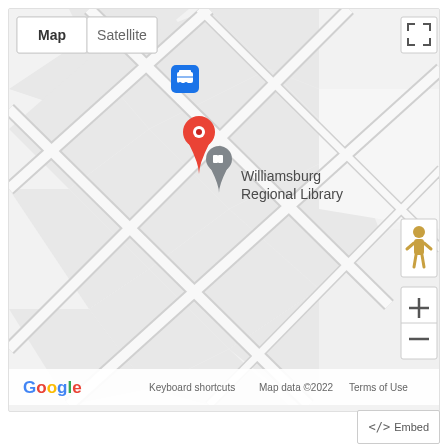[Figure (map): Google Maps screenshot showing Williamsburg Regional Library location with a red pin marker. Map shows street layout in light gray. Controls include Map/Satellite toggle, fullscreen button, Street View pegman, zoom in/out buttons. A bus stop icon is visible near the top. Bottom bar shows Google logo, Keyboard shortcuts, Map data ©2022, Terms of Use.]
</> Embed